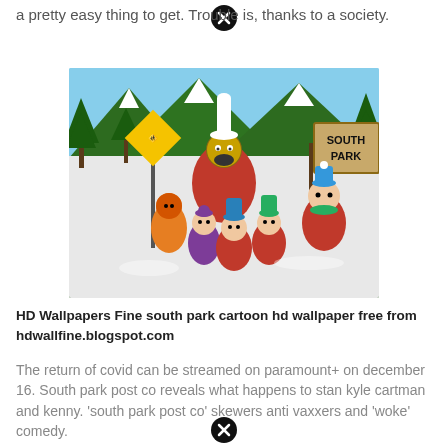a pretty easy thing to get. Trouble is, thanks to a society.
[Figure (illustration): South Park cartoon characters including Chef, Kenny, Wendy, Stan, Kyle, and Cartman standing in front of a South Park town sign, with snowy pine trees and mountains in the background and a crossing sign on the left.]
HD Wallpapers Fine south park cartoon hd wallpaper free from hdwallfine.blogspot.com
The return of covid can be streamed on paramount+ on december 16. South park post co reveals what happens to stan kyle cartman and kenny. 'south park post co' skewers anti vaxxers and 'woke' comedy.